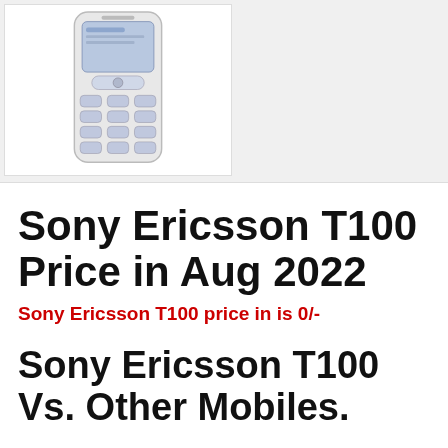[Figure (photo): Photo of Sony Ericsson T100 mobile phone — a white candy-bar phone with blue keypad buttons and a small screen]
Sony Ericsson T100 Price in Aug 2022
Sony Ericsson T100 price in is 0/-
Sony Ericsson T100 Vs. Other Mobiles.